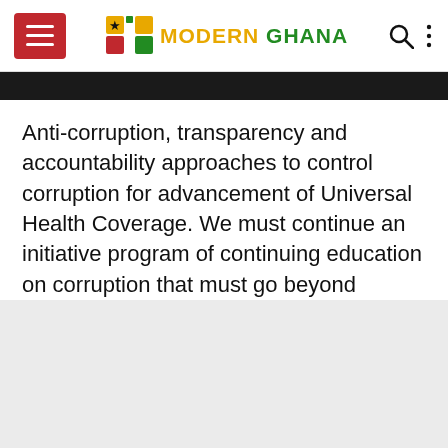Modern Ghana
[Figure (illustration): Dark image strip at top of article]
Anti-corruption, transparency and accountability approaches to control corruption for advancement of Universal Health Coverage. We must continue an initiative program of continuing education on corruption that must go beyond universities and healthcare sectors to empower health coverage and healthcare beneficiaries.